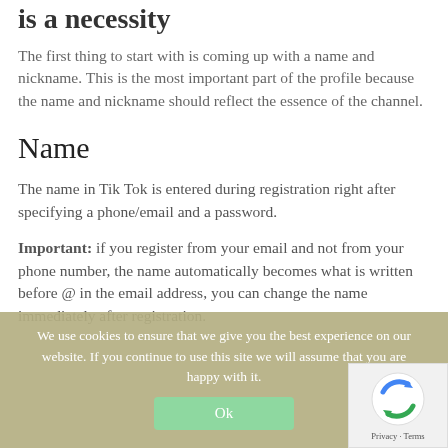is a necessity
The first thing to start with is coming up with a name and nickname. This is the most important part of the profile because the name and nickname should reflect the essence of the channel.
Name
The name in Tik Tok is entered during registration right after specifying a phone/email and a password.
Important: if you register from your email and not from your phone number, the name automatically becomes what is written before @ in the email address, you can change the name immediately after registration.
We use cookies to ensure that we give you the best experience on our website. If you continue to use this site we will assume that you are happy with it.